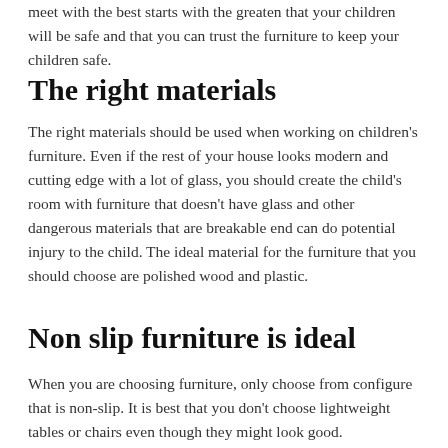meet with the best starts with the greaten that your children will be safe and that you can trust the furniture to keep your children safe.
The right materials
The right materials should be used when working on children's furniture. Even if the rest of your house looks modern and cutting edge with a lot of glass, you should create the child's room with furniture that doesn't have glass and other dangerous materials that are breakable end can do potential injury to the child. The ideal material for the furniture that you should choose are polished wood and plastic.
Non slip furniture is ideal
When you are choosing furniture, only choose from configure that is non-slip. It is best that you don't choose lightweight tables or chairs even though they might look good.